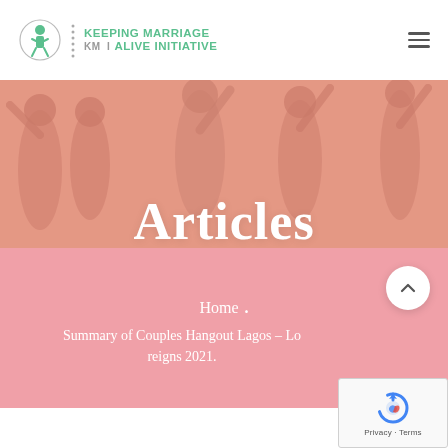[Figure (logo): Keeping Marriage Alive Initiative (KMII) logo with circular emblem and text]
[Figure (photo): Banner photo of group of people dancing/celebrating with salmon/pink overlay tint]
Articles
Home . Summary of Couples Hangout Lagos – Lo reigns 2021.
[Figure (other): reCAPTCHA widget showing Google reCAPTCHA logo with Privacy and Terms links]